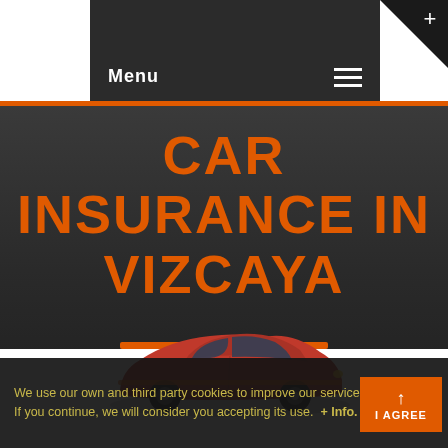Menu
CAR INSURANCE IN VIZCAYA
[Figure (illustration): Red hatchback car illustration partially visible, centered in the lower hero/white area transition]
We use our own and third party cookies to improve our services. If you continue, we will consider you accepting its use.  + Info.